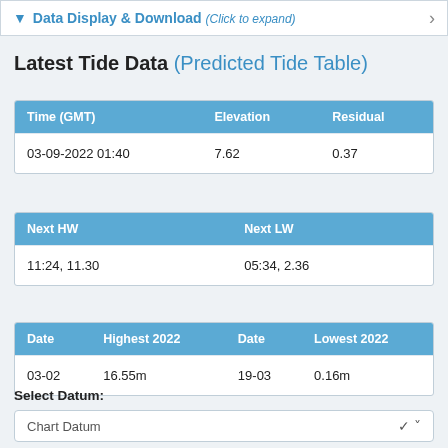Data Display & Download (Click to expand)
Latest Tide Data (Predicted Tide Table)
| Time (GMT) | Elevation | Residual |
| --- | --- | --- |
| 03-09-2022 01:40 | 7.62 | 0.37 |
| Next HW | Next LW |
| --- | --- |
| 11:24, 11.30 | 05:34, 2.36 |
| Date | Highest 2022 | Date | Lowest 2022 |
| --- | --- | --- | --- |
| 03-02 | 16.55m | 19-03 | 0.16m |
Select Datum:
Chart Datum